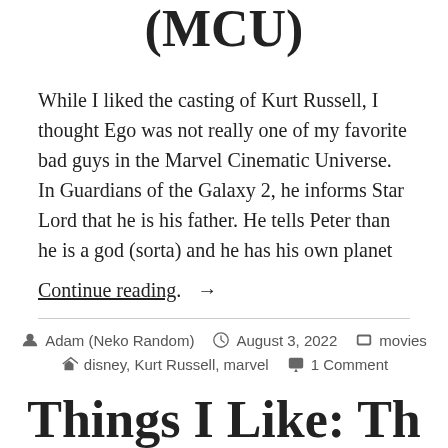(MCU)
While I liked the casting of Kurt Russell, I thought Ego was not really one of my favorite bad guys in the Marvel Cinematic Universe. In Guardians of the Galaxy 2, he informs Star Lord that he is his father. He tells Peter than he is a god (sorta) and he has his own planet
Continue reading. →
Adam (Neko Random)   August 3, 2022   movies   disney, Kurt Russell, marvel   1 Comment
Things I Like: Th...